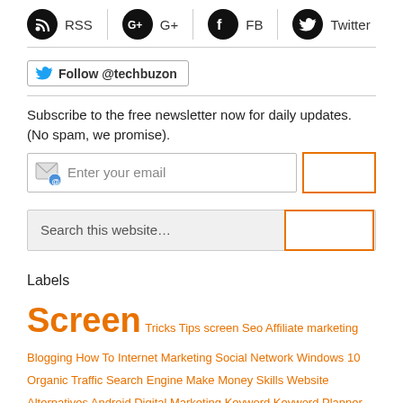[Figure (infographic): Social media icons row: RSS, G+, FB, Twitter — each with a circular black icon and label text]
[Figure (infographic): Twitter Follow button: blue Twitter bird icon with text 'Follow @techbuzon']
Subscribe to the free newsletter now for daily updates. (No spam, we promise).
[Figure (infographic): Email subscription input field with envelope/@ icon placeholder 'Enter your email' and an orange-bordered submit button]
[Figure (infographic): Search input field with placeholder 'Search this website...' and an orange-bordered search button]
Labels
Screen Tricks Tips screen Seo Affiliate marketing Blogging How To Internet Marketing Social Network Windows 10 Organic Traffic Search Engine Make Money Skills Website Alternatives Android Digital Marketing Keyword Keyword Planner Tools App Development Bran...